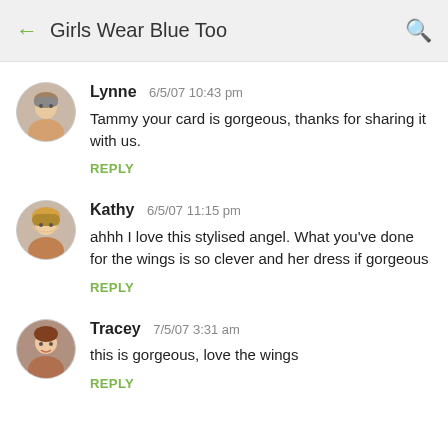Girls Wear Blue Too
Lynne  6/5/07 10:43 pm
Tammy your card is gorgeous, thanks for sharing it with us.
REPLY
Kathy  6/5/07 11:15 pm
ahhh I love this stylised angel. What you've done for the wings is so clever and her dress if gorgeous
REPLY
Tracey  7/5/07 3:31 am
this is gorgeous, love the wings
REPLY